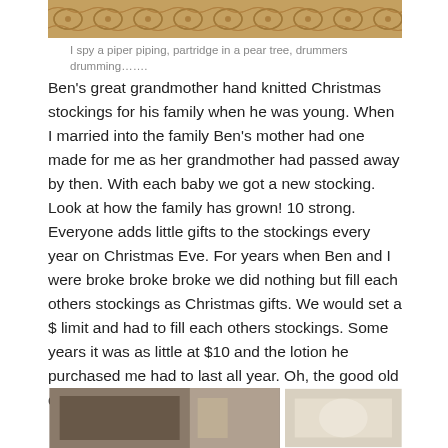[Figure (photo): Carved wooden decorative panel with intricate floral/scroll pattern in golden brown color]
I spy a piper piping, partridge in a pear tree, drummers drumming…….
Ben's great grandmother hand knitted Christmas stockings for his family when he was young. When I married into the family Ben's mother had one made for me as her grandmother had passed away by then. With each baby we got a new stocking. Look at how the family has grown! 10 strong. Everyone adds little gifts to the stockings every year on Christmas Eve. For years when Ben and I were broke broke broke we did nothing but fill each others stockings as Christmas gifts. We would set a $ limit and had to fill each others stockings. Some years it was as little at $10 and the lotion he purchased me had to last all year. Oh, the good old days.
[Figure (photo): Two photos side by side: left shows an indoor room/furniture scene with dark and light tones; right shows a lighter colored interior scene]